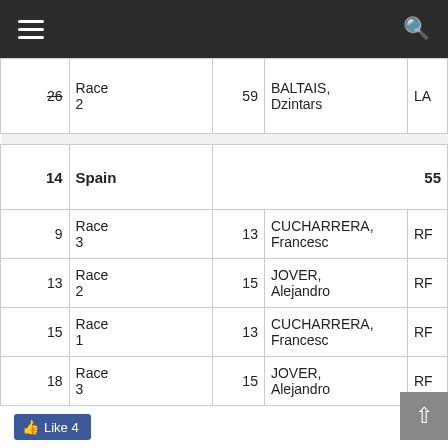| # | Country | Pts | Race | Lane | Athlete | Fed |
| --- | --- | --- | --- | --- | --- | --- |
| 26̶ |  |  | Race 2 | 59 | BALTAIS, Dzintars | LA |
| 14 | Spain | 55 |  |  |  |  |
| 9 |  |  | Race 3 | 13 | CUCHARRERA, Francesc | RF |
| 13 |  |  | Race 2 | 15 | JOVER, Alejandro | RF |
| 15 |  |  | Race 1 | 13 | CUCHARRERA, Francesc | RF |
| 18 |  |  | Race 3 | 15 | JOVER, Alejandro | RF |